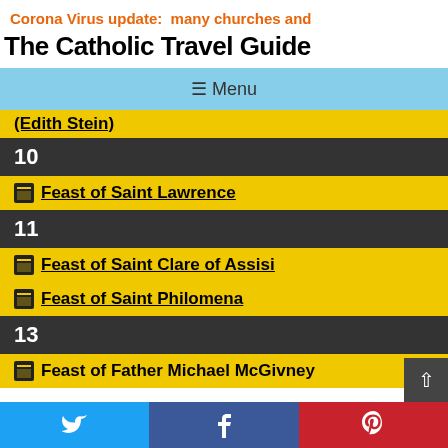Corona Virus update:  many churches and
The Catholic Travel Guide
≡ Menu
(Edith Stein)
10
Feast of Saint Lawrence
11
Feast of Saint Clare of Assisi
Feast of Saint Philomena
13
Feast of Father Michael McGivney